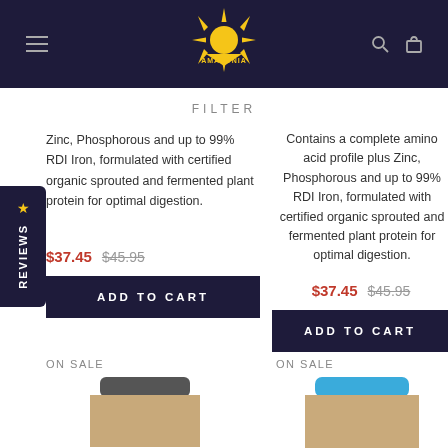[Figure (logo): Amazonia brand logo: yellow sun with rays above text AMAZONIA on dark navy header bar]
FILTER
Zinc, Phosphorous and up to 99% RDI Iron, formulated with certified organic sprouted and fermented plant protein for optimal digestion.
$37.45  $45.95
ADD TO CART
Contains a complete amino acid profile plus Zinc, Phosphorous and up to 99% RDI Iron, formulated with certified organic sprouted and fermented plant protein for optimal digestion.
$37.45  $45.95
ADD TO CART
ON SALE
ON SALE
[Figure (photo): Partial view of product container with grey/dark cap, brown packaging]
[Figure (photo): Partial view of product container with blue cap, brown packaging]